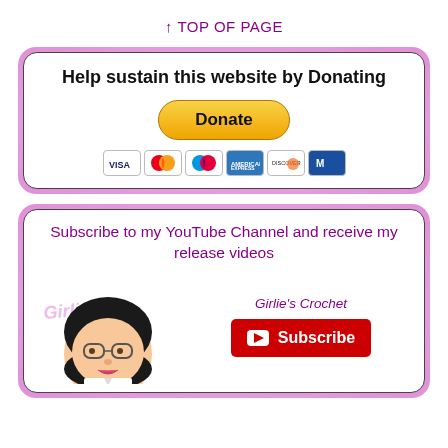↑ TOP OF PAGE
Help sustain this website by Donating
[Figure (illustration): PayPal Donate button with golden/yellow rounded rectangle shape labeled 'Donate' in bold, followed by a row of payment card logos (Visa, Mastercard, Mastercard variant, American Express, Discover, and another card)]
Subscribe to my YouTube Channel and receive my release videos
[Figure (illustration): Girlie's Crochet avatar/logo: cartoon illustration of a woman with dark hair and glasses, with stylized 'Girlie's Crona' text overlay]
Girlie's Crochet
[Figure (illustration): Red YouTube Subscribe button with white play triangle icon and 'Subscribe' text in white]